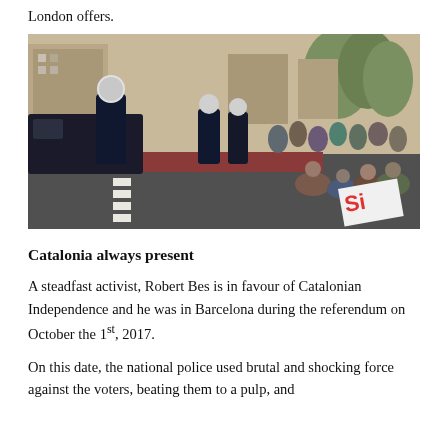London offers.
[Figure (photo): Police officers in riot gear standing in a street facing protesters who are seated on a road. One protester holds a 'Si' (Yes) sign, related to the Catalan independence referendum.]
Catalonia always present
A steadfast activist, Robert Bes is in favour of Catalonian Independence and he was in Barcelona during the referendum on October the 1st, 2017.
On this date, the national police used brutal and shocking force against the voters, beating them to a pulp, and